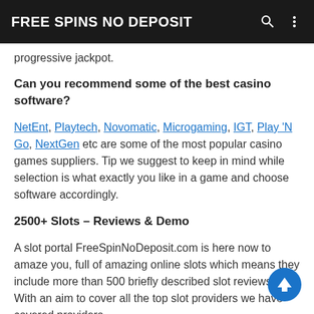FREE SPINS NO DEPOSIT
progressive jackpot.
Can you recommend some of the best casino software?
NetEnt, Playtech, Novomatic, Microgaming, IGT, Play 'N Go, NextGen etc are some of the most popular casino games suppliers. Tip we suggest to keep in mind while selection is what exactly you like in a game and choose software accordingly.
2500+ Slots – Reviews & Demo
A slot portal FreeSpinNoDeposit.com is here now to amaze you, full of amazing online slots which means they include more than 500 briefly described slot reviews. With an aim to cover all the top slot providers we have covered providers